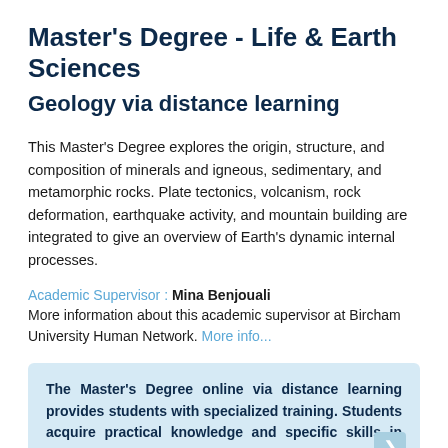Master's Degree - Life & Earth Sciences
Geology via distance learning
This Master's Degree explores the origin, structure, and composition of minerals and igneous, sedimentary, and metamorphic rocks. Plate tectonics, volcanism, rock deformation, earthquake activity, and mountain building are integrated to give an overview of Earth's dynamic internal processes.
Academic Supervisor : Mina Benjouali
More information about this academic supervisor at Bircham University Human Network. More info...
The Master's Degree online via distance learning provides students with specialized training. Students acquire practical knowledge and specific skills in courses related